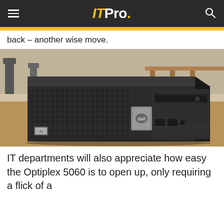ITPro.
back – another wise move.
[Figure (photo): A Dell OptiPlex 5060 small form factor desktop computer sitting on a wooden desk/table surface, viewed from the front-left angle. The unit is black with a mesh front panel, Dell logo badge, USB ports, and an optical drive slot visible on the front.]
IT departments will also appreciate how easy the Optiplex 5060 is to open up, only requiring a flick of a